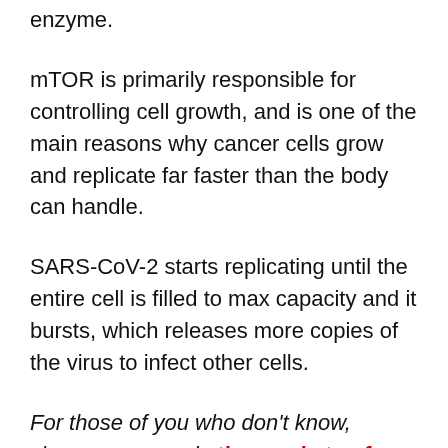enzyme.
mTOR is primarily responsible for controlling cell growth, and is one of the main reasons why cancer cells grow and replicate far faster than the body can handle.
SARS-CoV-2 starts replicating until the entire cell is filled to max capacity and it bursts, which releases more copies of the virus to infect other cells.
For those of you who don’t know, viruses are merely tiny packets of DNA or RNA that can “produce” the proteins needed to build their structure and maintain their function.